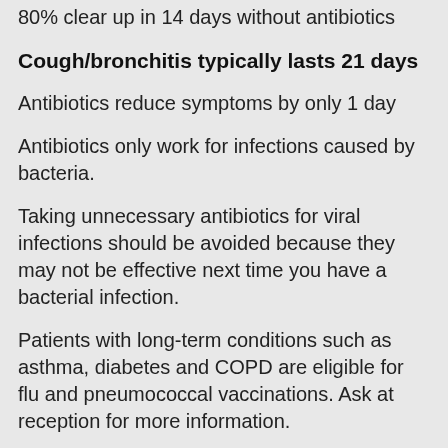80% clear up in 14 days without antibiotics
Cough/bronchitis typically lasts 21 days
Antibiotics reduce symptoms by only 1 day
Antibiotics only work for infections caused by bacteria.
Taking unnecessary antibiotics for viral infections should be avoided because they may not be effective next time you have a bacterial infection.
Patients with long-term conditions such as asthma, diabetes and COPD are eligible for flu and pneumococcal vaccinations. Ask at reception for more information.